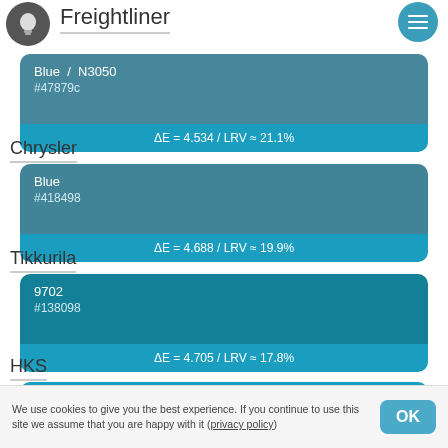Freightliner
Blue  /  N3050
#47879c
ΔE = 4.534 / LRV ≈ 21.1%
Chrysler
Blue
#418498
ΔE = 4.688 / LRV ≈ 19.9%
Tikkurila
9702
#138098
ΔE = 4.705 / LRV ≈ 17.8%
HKS
HKS  40
We use cookies to give you the best experience. If you continue to use this site we assume that you are happy with it (privacy policy)